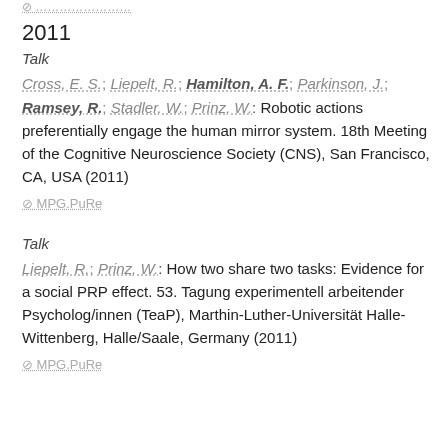… (truncated link)
2011
Talk
Cross, E. S.; Liepelt, R.; Hamilton, A. F.; Parkinson, J.; Ramsey, R.; Stadler, W.; Prinz, W.: Robotic actions preferentially engage the human mirror system. 18th Meeting of the Cognitive Neuroscience Society (CNS), San Francisco, CA, USA (2011)
⊘ MPG.PuRe
Talk
Liepelt, R.; Prinz, W.: How two share two tasks: Evidence for a social PRP effect. 53. Tagung experimentell arbeitender Psycholog/innen (TeaP), Marthin-Luther-Universität Halle-Wittenberg, Halle/Saale, Germany (2011)
⊘ MPG.PuRe